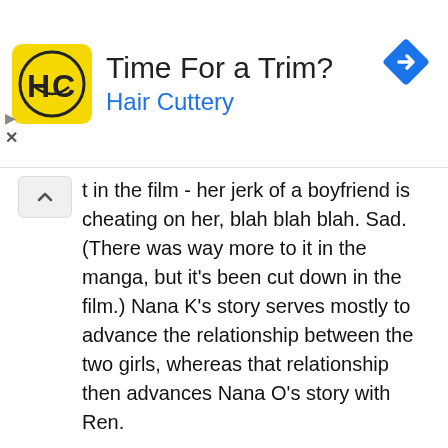[Figure (other): Hair Cuttery advertisement banner with yellow logo, 'Time For a Trim?' headline, blue Hair Cuttery text, and blue diamond road sign icon]
t in the film - her jerk of a boyfriend is cheating on her, blah blah blah. Sad. (There was way more to it in the manga, but it's been cut down in the film.) Nana K's story serves mostly to advance the relationship between the two girls, whereas that relationship then advances Nana O's story with Ren.
The whole thing is heavy on the schmaltz and there's lots of crying. But you know what? Japanese filmmakers are really, really good at this kind of thing. The art of melodrama is lost in this country - we've turned it into such a formula that all the real emotion just gets sucked right out of it. Japanese melodramas - at least the best ones - pour it on just as thick as American melodramas but somehow manage to suck you in anyway. They're so well-calculated that even though you're completely aware of being manipulated, you still get caught up in it. There are scenes in this film that I know I